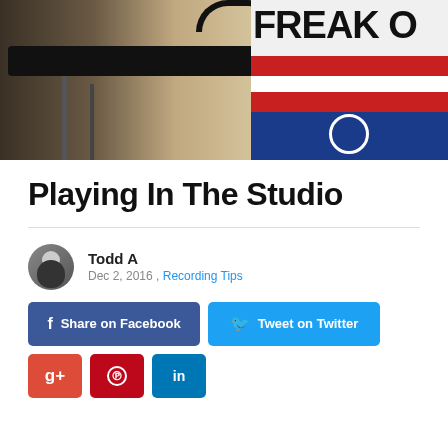[Figure (photo): A person wearing headphones looking through or at a piece of black equipment (possibly a camera or recording device) in a studio, with a 'Freak Out' flag/banner visible in the background featuring red and white stripes and blue section.]
Playing In The Studio
Todd A
Dec 2, 2016, Recording Tips
Share on Facebook  Tweet on Twitter  g+  Pinterest  in